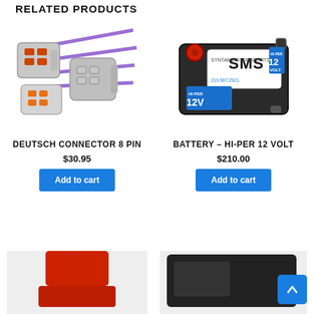RELATED PRODUCTS
[Figure (photo): Deutsch connector 8 pin product photo showing grey connectors with purple wires]
DEUTSCH CONNECTOR 8 PIN
$30.95
Add to cart
[Figure (photo): Battery Hi-Per 12 Volt product photo showing a black rectangular battery with blue and red HI-PER 12V branding]
BATTERY – HI-PER 12 VOLT
$210.00
Add to cart
[Figure (photo): Partial product image at bottom left, partially cut off]
[Figure (photo): Partial product image at bottom right, partially cut off]